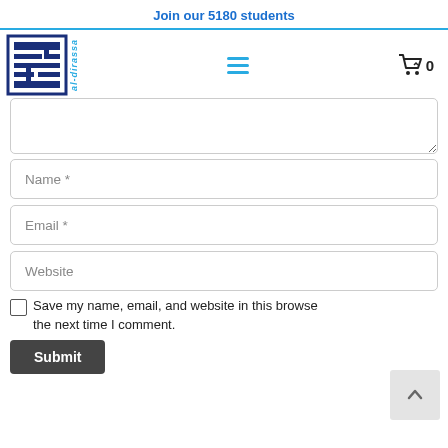Join our 5180 students
[Figure (logo): Al-Dirassa logo: stylized Arabic geometric pattern in dark navy blue with 'al-dirassa' text in cyan vertical orientation]
Name *
Email *
Website
Save my name, email, and website in this browse the next time I comment.
Submit